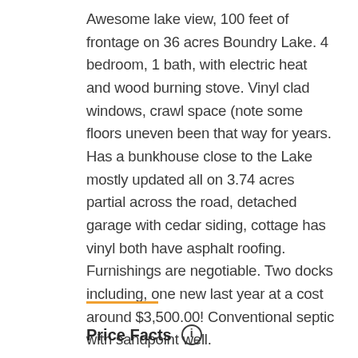Awesome lake view, 100 feet of frontage on 36 acres Boundry Lake. 4 bedroom, 1 bath, with electric heat and wood burning stove. Vinyl clad windows, crawl space (note some floors uneven been that way for years. Has a bunkhouse close to the Lake mostly updated all on 3.74 acres partial across the road, detached garage with cedar siding, cottage has vinyl both have asphalt roofing. Furnishings are negotiable. Two docks including, one new last year at a cost around $3,500.00! Conventional septic with sandpoint well.
Price Facts